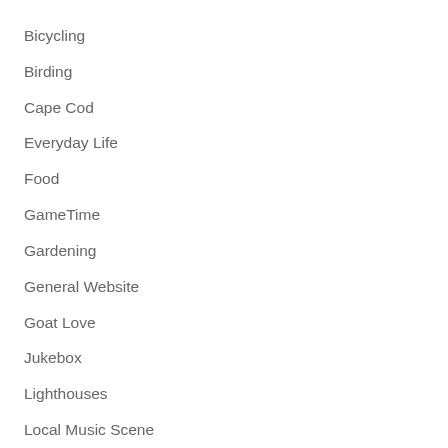Bicycling
Birding
Cape Cod
Everyday Life
Food
GameTime
Gardening
General Website
Goat Love
Jukebox
Lighthouses
Local Music Scene